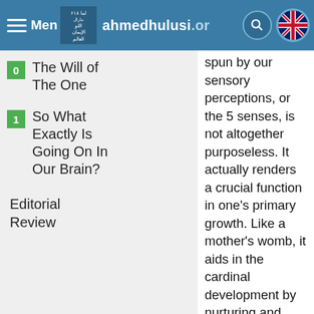Menu | ahmedhulusi.org
0 The Will of The One
1 So What Exactly Is Going On In Our Brain?
Editorial Review
spun by our sensory perceptions, or the 5 senses, is not altogether purposeless. It actually renders a crucial function in one's primary growth. Like a mother's womb, it aids in the cardinal development by nurturing and preparing us for the real world. Hence, it is not designed to be a perpetual abode, rather a temporary sheath of protection during our development. Just like a matured baby pushes itself out of the womb, or a developed silk worm breaks out of its cocoon, the matured consciousness must also hatch out of its cocoon-like reality, lest he suffocates and withers away.